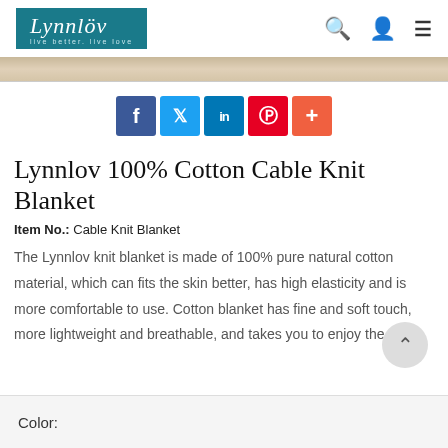Lynnlov
[Figure (screenshot): Social media share buttons: Facebook, Twitter, LinkedIn, Pinterest, Plus]
Lynnlov 100% Cotton Cable Knit Blanket
Item No.: Cable Knit Blanket
The Lynnlov knit blanket is made of 100% pure natural cotton material, which can fits the skin better, has high elasticity and is more comfortable to use. Cotton blanket has fine and soft touch, more lightweight and breathable, and takes you to enjoy the
Color: